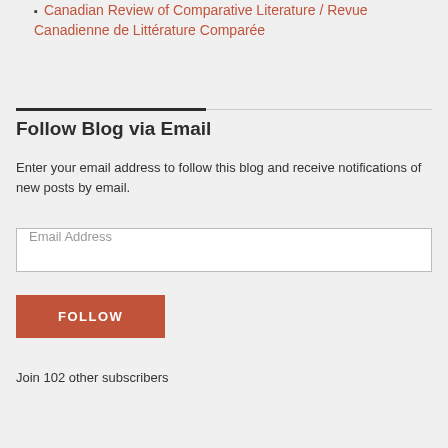Canadian Review of Comparative Literature / Revue Canadienne de Littérature Comparée
Follow Blog via Email
Enter your email address to follow this blog and receive notifications of new posts by email.
Email Address
FOLLOW
Join 102 other subscribers